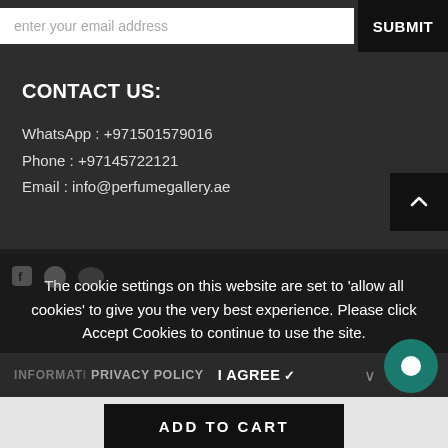enter your email address
SUBMIT
CONTACT US:
WhatsApp : +971501579016
Phone : +97145722121
Email : info@perfumegallery.ae
The cookie settings on this website are set to ‘allow all cookies’ to give you the very best experience. Please click Accept Cookies to continue to use the site.
PRIVACY POLICY   I AGREE ✓
ADD TO CART